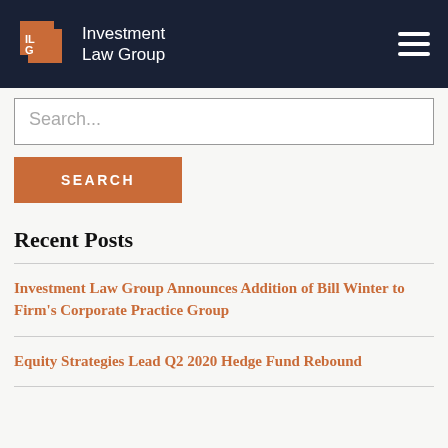Investment Law Group
Search...
SEARCH
Recent Posts
Investment Law Group Announces Addition of Bill Winter to Firm's Corporate Practice Group
Equity Strategies Lead Q2 2020 Hedge Fund Rebound